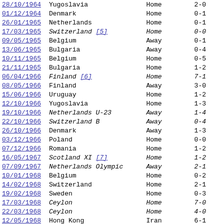| Date | Opponent | Venue | Score |
| --- | --- | --- | --- |
| 28/10/1964 | Yugoslavia | Home | 2-0 |
| 01/12/1964 | Denmark | Home | 0-1 |
| 26/01/1965 | Netherlands | Home | 0-1 |
| 17/03/1965 | Switzerland [5] | Home | 0-0 |
| 09/05/1965 | Belgium | Away | 0-1 |
| 13/06/1965 | Bulgaria | Away | 0-4 |
| 10/11/1965 | Belgium | Home | 0-5 |
| 21/11/1965 | Bulgaria | Home | 1-2 |
| 06/04/1966 | Finland [6] | Home | 7-1 |
| 08/05/1966 | Finland | Away | 3-0 |
| 15/06/1966 | Uruguay | Home | 1-2 |
| 12/10/1966 | Yugoslavia | Home | 1-3 |
| 19/10/1966 | Netherlands U-23 | Away | 1-4 |
| 22/10/1966 | Switzerland B | Away | 0-4 |
| 26/10/1966 | Denmark | Away | 1-3 |
| 03/12/1966 | Poland | Home | 0-0 |
| 07/12/1966 | Romania | Home | 1-2 |
| 16/05/1967 | Scotland XI [7] | Home | 1-2 |
| 07/09/1967 | Netherlands Olympic | Away | 2-1 |
| 10/01/1968 | Belgium | Home | 0-2 |
| 14/02/1968 | Switzerland | Home | 2-1 |
| 19/02/1968 | Sweden | Home | 0-3 |
| 17/03/1968 | Ceylon | Home | 7-0 |
| 22/03/1968 | Ceylon | Home | 4-0 |
| 12/05/1968 | Hong Kong | Iran | 6-1 |
| 14/05/1968 | Burma | Iran | 0-1 |
| 17/05/1968 | Taiwan | Iran | 4-1 |
| 19/05/1968 | Iran | Away | 1-2 |
| 10/09/1968 | Northern Ireland | Home | 2-3 |
| 15/09/1968 | USA | Away | 3-3 |